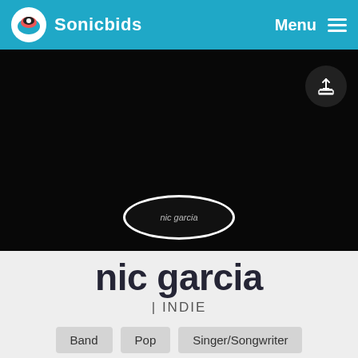Sonicbids | Menu
[Figure (screenshot): Dark hero banner area for artist profile with a circular/elliptical avatar placeholder labeled 'nic garcia' in the center]
nic garcia
| INDIE
Band
Pop
Singer/Songwriter